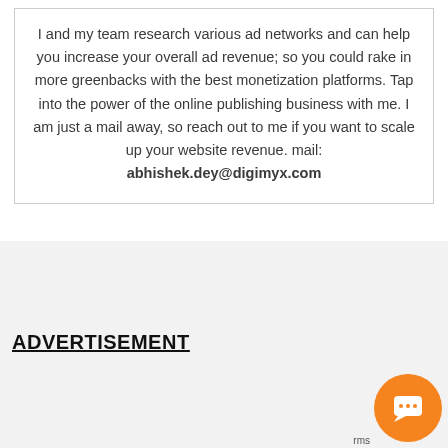I and my team research various ad networks and can help you increase your overall ad revenue; so you could rake in more greenbacks with the best monetization platforms. Tap into the power of the online publishing business with me. I am just a mail away, so reach out to me if you want to scale up your website revenue. mail: abhishek.dey@digimyx.com
ADVERTISEMENT